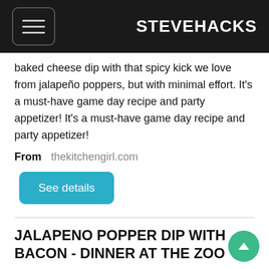STEVEHACKS
baked cheese dip with that spicy kick we love from jalapeño poppers, but with minimal effort. It's a must-have game day recipe and party appetizer! It's a must-have game day recipe and party appetizer!
From   thekitchengirl.com
See details
JALAPENO POPPER DIP WITH BACON - DINNER AT THE ZOO
Jul 05, 2019 · This jalapeno popper dip recipe is creamy, cheesy, spicy, loaded with bacon and totally addicting! It's made with a blend of cream cheese, cheddar cheese, fresh jalapenos and bacon, then topped with crunchy breadcrumbs.